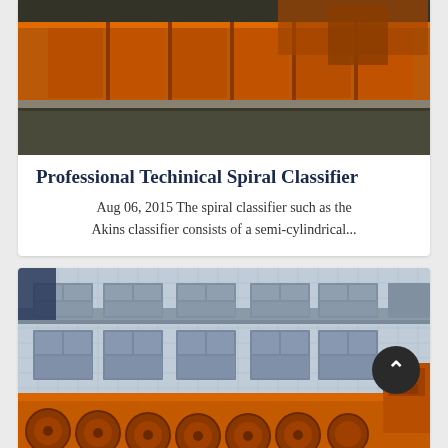[Figure (photo): Photo of an orange spiral classifier industrial machine seen from above/side angle, on a factory floor]
Professional Techinical Spiral Classifier
Aug 06, 2015 The spiral classifier such as the Akins classifier consists of a semi-cylindrical...
[Figure (photo): Photo of a large orange spiral classifier machine outside an industrial building, showing spiral screw conveyor mechanism]